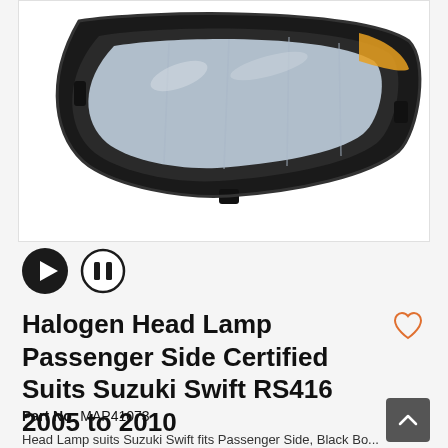[Figure (photo): Halogen head lamp for passenger side, black housing with clear lens, for Suzuki Swift RS416 2005-2010]
[Figure (other): Media playback controls: play button (filled black circle with triangle) and pause button (outlined circle with two bars)]
Halogen Head Lamp Passenger Side Certified Suits Suzuki Swift RS416 2005 to 2010
Part No: MAP41073
Head Lamp suits Suzuki Swift fits Passenger Side, Black Bo...